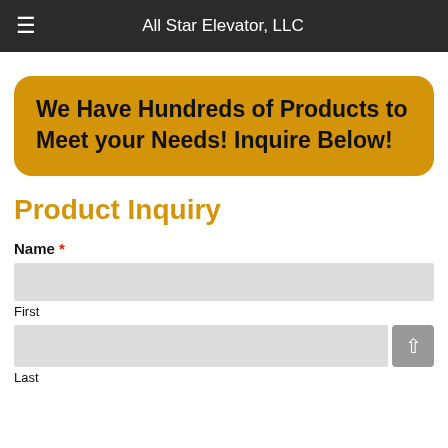All Star Elevator, LLC
We Have Hundreds of Products to Meet your Needs! Inquire Below!
Product Inquiry
Name *
First
Last